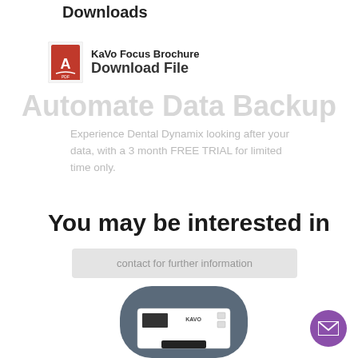Downloads
KaVo Focus Brochure
Download File
Automate Data Backup
Experience Dental Dynamix looking after your data, with a 3 month FREE TRIAL for limited time only.
You may be interested in
contact for further information
[Figure (photo): KaVo dental device seen from above, dark gray and white, with KAVO branding on top panel]